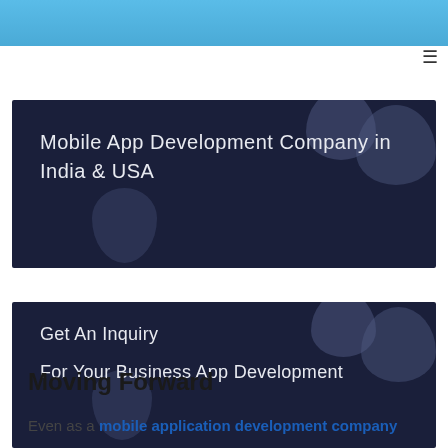[Figure (screenshot): Top blue navigation banner]
[Figure (screenshot): Hamburger/menu icon (three horizontal lines)]
[Figure (screenshot): Dark navy card with text: Mobile App Development Company in India & USA, with decorative blob shapes]
[Figure (screenshot): Dark navy card with text: Get An Inquiry / For Your Business App Development, with decorative blob shapes]
Moving Forward
Even as a mobile application development company